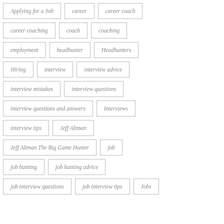Applying for a Job
career
career coach
career coaching
coach
coaching
employment
headhunter
Headhunters
Hiring
interview
interview advice
interview mistakes
interview questions
interview questions and answers
Interviews
interview tips
Jeff Altman
Jeff Altman The Big Game Hunter
job
job hunting
job hunting advice
job interview questions
job interview tips
Jobs